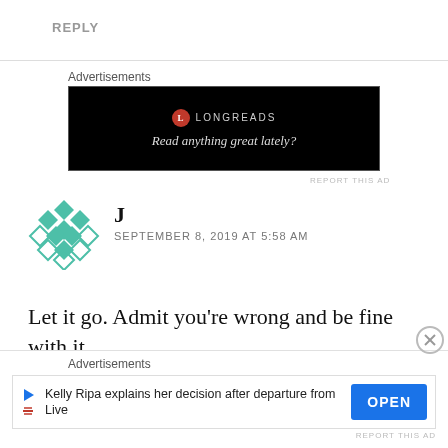REPLY
Advertisements
[Figure (other): Longreads ad banner: black background with Longreads logo (red circle with L) and text 'Read anything great lately?']
REPORT THIS AD
J
SEPTEMBER 8, 2019 AT 5:58 AM
Let it go. Admit you're wrong and be fine with it.
Advertisements
[Figure (other): Bottom ad banner: Kelly Ripa explains her decision after departure from Live, with OPEN button]